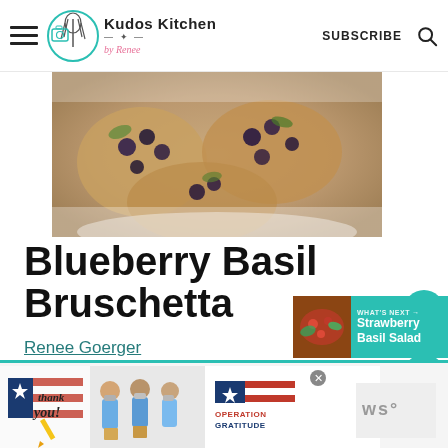Kudos Kitchen by Renee — SUBSCRIBE
[Figure (photo): Top-down photo of blueberry basil bruschetta on bread slices, partially cropped, showing dark blueberries and garnish on toasted bread.]
Blueberry Basil Bruschetta
Renee Goerger
5 from 1 vote
[Figure (screenshot): Advertisement banner at bottom: 'thank you' with Operation Gratitude imagery and people in masks holding packages.]